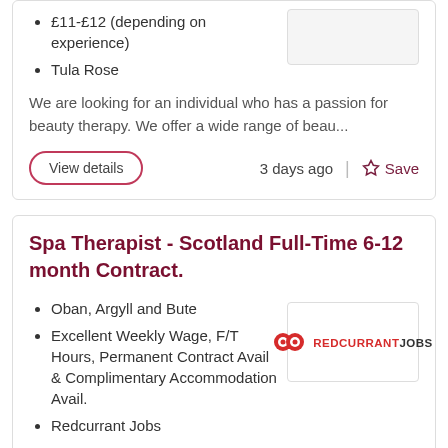£11-£12 (depending on experience)
Tula Rose
We are looking for an individual who has a passion for beauty therapy. We offer a wide range of beau...
View details
3 days ago
Save
Spa Therapist - Scotland Full-Time 6-12 month Contract.
Oban, Argyll and Bute
Excellent Weekly Wage, F/T Hours, Permanent Contract Avail & Complimentary Accommodation Avail.
Redcurrant Jobs
[Figure (logo): Redcurrant Jobs logo with two red circular icons and bold text REDCURRANT JOBS]